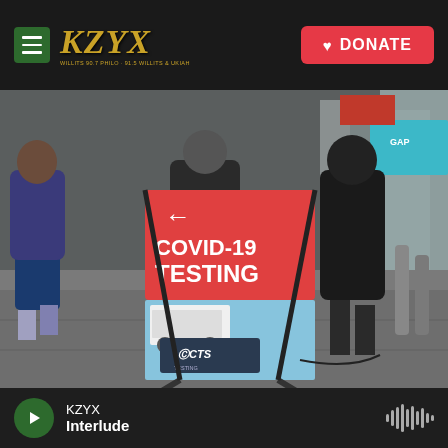KZYX — DONATE
[Figure (photo): A COVID-19 testing site sign on a Manhattan street with pedestrians walking by. The A-frame sign reads 'COVID-19 TESTING' with an arrow and CTS branding. Times Square area billboards visible in background.]
Spencer Platt / Getty Images
People pass a COVID-19 testing site on a Manhattan street on
KZYX — Interlude